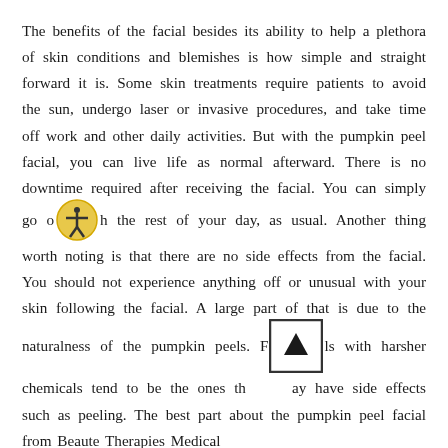The benefits of the facial besides its ability to help a plethora of skin conditions and blemishes is how simple and straight forward it is. Some skin treatments require patients to avoid the sun, undergo laser or invasive procedures, and take time off work and other daily activities. But with the pumpkin peel facial, you can live life as normal afterward. There is no downtime required after receiving the facial. You can simply go on with the rest of your day, as usual. Another thing worth noting is that there are no side effects from the facial. You should not experience anything off or unusual with your skin following the facial. A large part of that is due to the naturalness of the pumpkin peels. Facials with harsher chemicals tend to be the ones that may have side effects such as peeling. The best part about the pumpkin peel facial from Beaute Therapies Medical